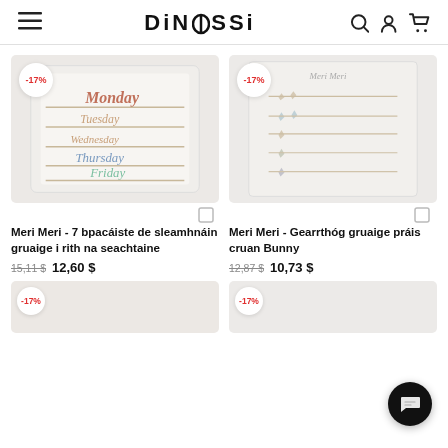DINOSSI
[Figure (photo): Hair clips set with days of the week script labels in a white box, -17% badge]
[Figure (photo): Meri Meri brass star hair clips set in white box, -17% badge]
Meri Meri - 7 bpacáiste de sleamhnáin gruaige i rith na seachtaine
15,11 $  12,60 $
Meri Meri - Gearrthóg gruaige práis cruan Bunny
12,87 $  10,73 $
[Figure (photo): Bottom left product image, -17% badge]
[Figure (photo): Bottom right product image, -17% badge]